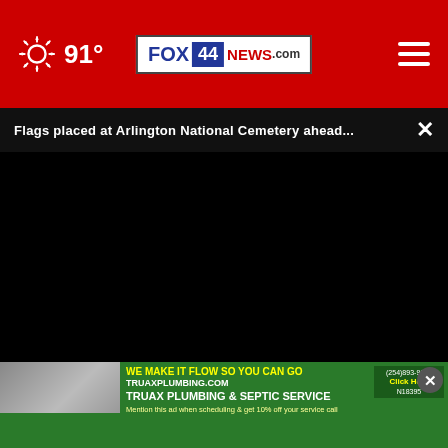91° FOX 44 NEWS.com
Flags placed at Arlington National Cemetery ahead...
[Figure (screenshot): Video player with black screen showing no content loaded, with progress bar and playback controls (play button, mute button, time 00:00, fullscreen button)]
[Figure (screenshot): Advertisement banner for Truax Plumbing & Septic Service showing two men in green shirts, text: WE MAKE IT FLOW SO YOU CAN GO, TRUAXPLUMBING.COM, TRUAX PLUMBING & SEPTIC SERVICE, Mention this ad when scheduling & get 10% off your service call, N18395, Click Here]